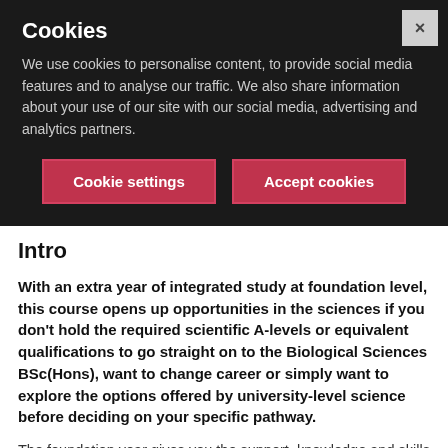Cookies
We use cookies to personalise content, to provide social media features and to analyse our traffic. We also share information about your use of our site with our social media, advertising and analytics partners.
Cookie settings
Accept cookies
Intro
With an extra year of integrated study at foundation level, this course opens up opportunities in the sciences if you don't hold the required scientific A-levels or equivalent qualifications to go straight on to the Biological Sciences BSc(Hons), want to change career or simply want to explore the options offered by university-level science before deciding on your specific pathway.
The foundation year gives you the support, knowledge and skills you need. On successful completion of the